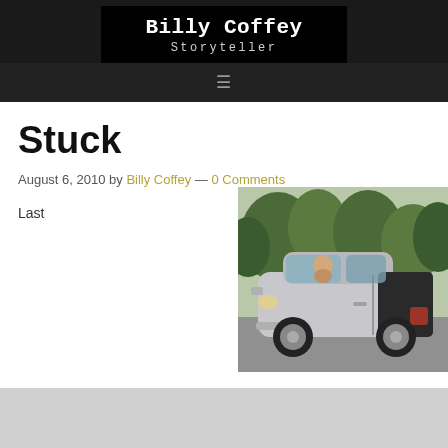Billy Coffey Storyteller
Stuck
August 6, 2010 by Billy Coffey — 0 Comments
Last
[Figure (photo): A person sitting in a small silver Smart car, parked outdoors with trees visible in background]